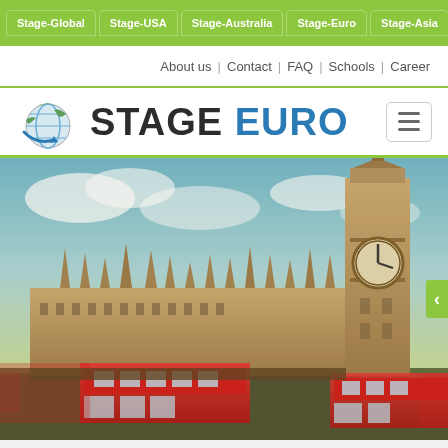Stage-Global | Stage-USA | Stage-Australia | Stage-Euro | Stage-Asia
About us | Contact | FAQ | Schools | Career
[Figure (logo): Stage Euro logo with globe icon and text STAGE EURO]
[Figure (photo): Photo of Big Ben and Houses of Parliament in London with red double-decker buses in motion blur, dramatic sky]